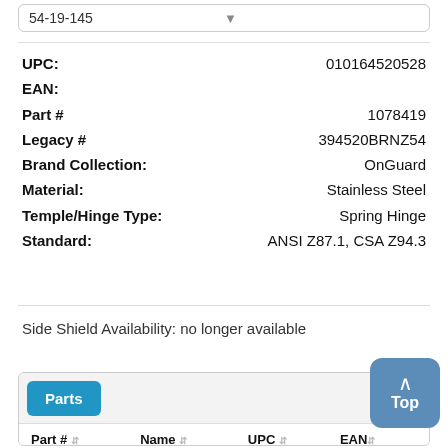54-19-145
| Field | Value |
| --- | --- |
| UPC: | 010164520528 |
| EAN: |  |
| Part # | 1078419 |
| Legacy # | 394520BRNZ54 |
| Brand Collection: | OnGuard |
| Material: | Stainless Steel |
| Temple/Hinge Type: | Spring Hinge |
| Standard: | ANSI Z87.1, CSA Z94.3 |
Side Shield Availability: no longer available
Parts
| Part # | Name | UPC | EAN |
| --- | --- | --- | --- |